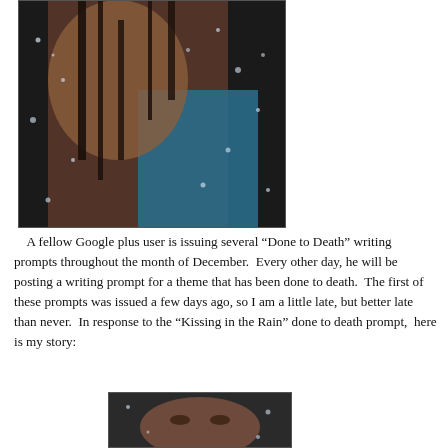[Figure (photo): A woman in a blue top, wet with rain, crouching with dark hair wet and falling around her, rain drops visible throughout the dark background.]
A fellow Google plus user is issuing several “Done to Death” writing prompts throughout the month of December. Every other day, he will be posting a writing prompt for a theme that has been done to death. The first of these prompts was issued a few days ago, so I am a little late, but better late than never. In response to the “Kissing in the Rain” done to death prompt, here is my story:
[Figure (photo): Partial view of a person in rain, close-up face shot with rain drops visible.]